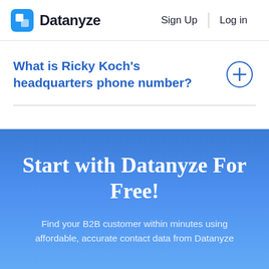Datanyze   Sign Up   Log in
What is Ricky Koch's headquarters phone number?
Start with Datanyze For Free!
Find your B2B customer within minutes using affordable, accurate contact data from Datanyze